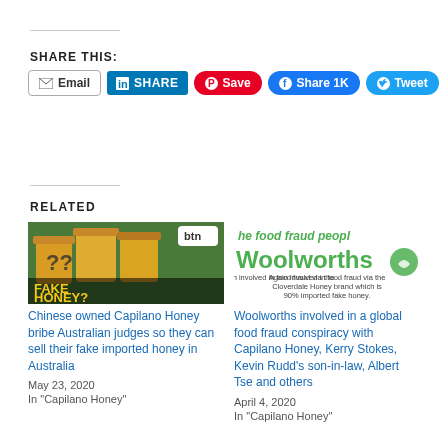SHARE THIS:
Email | SHARE | Save | Share 1K | Tweet
RELATED
[Figure (photo): Jars of honey with question marks, text FAKE HONEY? with btn logo overlay]
Chinese owned Capilano Honey bribe Australian judges so they can sell their fake imported honey in Australia
May 23, 2020
In "Capilano Honey"
[Figure (photo): Woolworths logo with text: he food fraud people, Woolworths. Again involved in food fraud via the Cloverdale Honey brand which is 90% imported fake honey.]
Woolworths involved in a global food fraud conspiracy with Capilano Honey, Kerry Stokes, Kevin Rudd's son-in-law, Albert Tse and others
April 4, 2020
In "Capilano Honey"